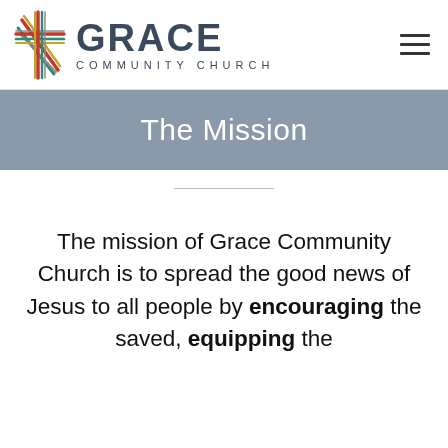[Figure (logo): Grace Community Church logo: colorful cross icon on the left, with 'GRACE' in large dark blue-gray bold letters and 'COMMUNITY CHURCH' in small spaced letters below]
The Mission
The mission of Grace Community Church is to spread the good news of Jesus to all people by encouraging the saved, equipping the